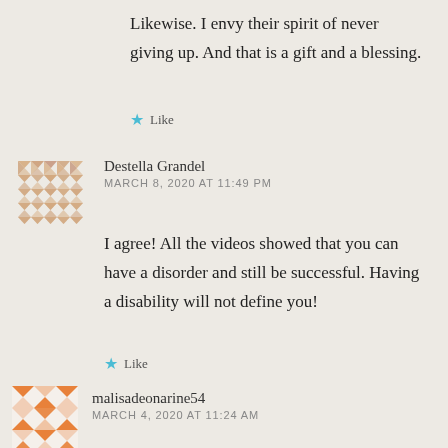Likewise. I envy their spirit of never giving up. And that is a gift and a blessing.
Like
[Figure (illustration): Destella Grandel avatar: warm tan/beige geometric quilt pattern]
Destella Grandel
MARCH 8, 2020 AT 11:49 PM
I agree! All the videos showed that you can have a disorder and still be successful. Having a disability will not define you!
Like
[Figure (illustration): malisadeonarine54 avatar: orange and white geometric diamond/square pattern]
malisadeonarine54
MARCH 4, 2020 AT 11:24 AM